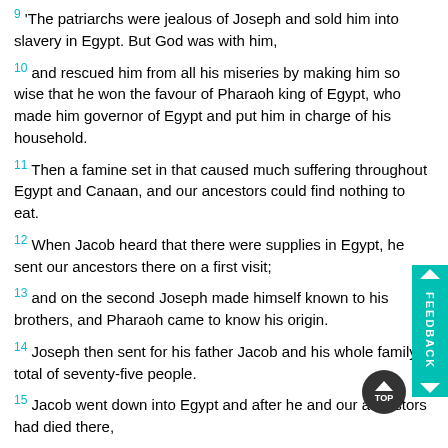9 'The patriarchs were jealous of Joseph and sold him into slavery in Egypt. But God was with him,
10 and rescued him from all his miseries by making him so wise that he won the favour of Pharaoh king of Egypt, who made him governor of Egypt and put him in charge of his household.
11 Then a famine set in that caused much suffering throughout Egypt and Canaan, and our ancestors could find nothing to eat.
12 When Jacob heard that there were supplies in Egypt, he sent our ancestors there on a first visit;
13 and on the second Joseph made himself known to his brothers, and Pharaoh came to know his origin.
14 Joseph then sent for his father Jacob and his whole family, a total of seventy-five people.
15 Jacob went down into Egypt and after he and our ancestors had died there,
16 their bodies were brought back to Shechem and buried in the tomb that Abraham had bought for money from the sons of Hamor, the father of Shechem.